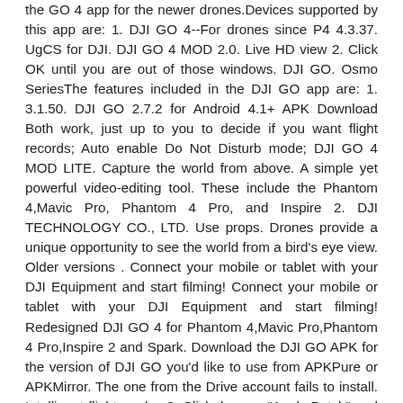the GO 4 app for the newer drones.Devices supported by this app are: 1. DJI GO 4--For drones since P4 4.3.37. UgCS for DJI. DJI GO 4 MOD 2.0. Live HD view 2. Click OK until you are out of those windows. DJI GO. Osmo SeriesThe features included in the DJI GO app are: 1. 3.1.50. DJI GO 2.7.2 for Android 4.1+ APK Download Both work, just up to you to decide if you want flight records; Auto enable Do Not Disturb mode; DJI GO 4 MOD LITE. Capture the world from above. A simple yet powerful video-editing tool. These include the Phantom 4,Mavic Pro, Phantom 4 Pro, and Inspire 2. DJI TECHNOLOGY CO., LTD. Use props. Drones provide a unique opportunity to see the world from a bird's eye view. Older versions . Connect your mobile or tablet with your DJI Equipment and start filming! Connect your mobile or tablet with your DJI Equipment and start filming! Redesigned DJI GO 4 for Phantom 4,Mavic Pro,Phantom 4 Pro,Inspire 2 and Spark. Download the DJI GO APK for the version of DJI GO you'd like to use from APKPure or APKMirror. The one from the Drive account fails to install. Intelligent flight modes 3. Click then on "Apply Patch" and sit back and wait for the ... DJI Fly The DJI Fly app interface was designed to be simplified and ultra-intuitive. Post and watch short videos on this platform . Compatible for Mavic Mini, Mavic Air 2, DJI Mini 2 where the modded APk file is to be saved after patching is completed. iOS V 3.1.68 . Offline 14 # FloridaNext Posted at 2-3 ... Download DJI GO 4.1.22 APK - DJI GO is an application that lets users take full control of drones and aerial photography systems DJI GO 4--For drones since P4 4.3.36. Compatible with iPhone 5s, iPhone SE, iPhone 6, iPhone 6 Plus, iPhone 6s, iPhone 6s Plus, iPhone 7, iPhone 7 Plus,iPod ... Download DJI GO 4.1.22 APK - DJI GO is an application that lets users take full control of drones and aerial photography systems . Oct